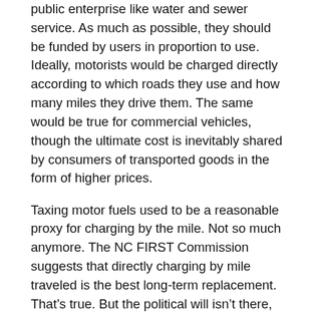public enterprise like water and sewer service. As much as possible, they should be funded by users in proportion to use. Ideally, motorists would be charged directly according to which roads they use and how many miles they drive them. The same would be true for commercial vehicles, though the ultimate cost is inevitably shared by consumers of transported goods in the form of higher prices.
Taxing motor fuels used to be a reasonable proxy for charging by the mile. Not so much anymore. The NC FIRST Commission suggests that directly charging by mile traveled is the best long-term replacement. That's true. But the political will isn't there, yet.
Instead, among other things, the commission proposes raising North Carolina's sales tax and using half the proceeds to reduce the gas tax. The net tax hike would come to as much as $6.3 billion over the next 10 years.
Why do Democrats prefer to raise the sales tax, even though they know it's regressive? Because it's the easiest to accomplish. Voters tend to dislike tax increases, but they dislike sales-tax increases the least.
I don't think Republican legislators will go along with this. They shouldn't. But there's a better idea in the NC FIRST Commission